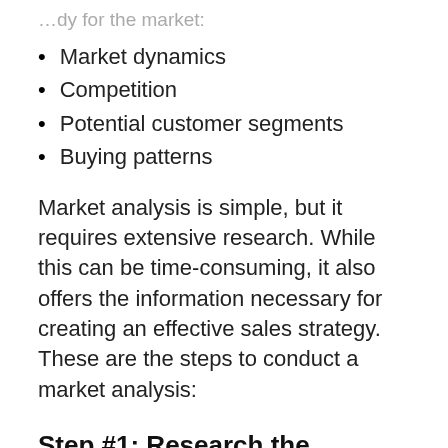…dy for the market:
Market dynamics
Competition
Potential customer segments
Buying patterns
Market analysis is simple, but it requires extensive research. While this can be time-consuming, it also offers the information necessary for creating an effective sales strategy. These are the steps to conduct a market analysis:
Step #1: Research the Current State of the Industry